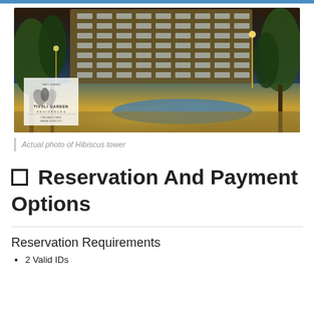[Figure (photo): Night photo of Tivoli Garden Residences, Hibiscus tower, showing a modern residential building with golden lighting, trees in foreground, and a pool area. Logo with leaf design and text 'TIVOLI GARDEN RESIDENCES, CORONADO STREET, MANDALUYONG CITY' visible in lower left.]
Actual photo of Hibiscus tower
☐  Reservation And Payment Options
Reservation Requirements
2 Valid IDs